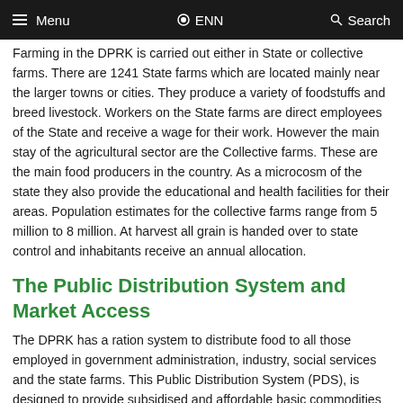Menu  ENN  Search
Farming in the DPRK is carried out either in State or collective farms. There are 1241 State farms which are located mainly near the larger towns or cities. They produce a variety of foodstuffs and breed livestock. Workers on the State farms are direct employees of the State and receive a wage for their work. However the main stay of the agricultural sector are the Collective farms. These are the main food producers in the country. As a microcosm of the state they also provide the educational and health facilities for their areas. Population estimates for the collective farms range from 5 million to 8 million. At harvest all grain is handed over to state control and inhabitants receive an annual allocation.
The Public Distribution System and Market Access
The DPRK has a ration system to distribute food to all those employed in government administration, industry, social services and the state farms. This Public Distribution System (PDS), is designed to provide subsidised and affordable basic commodities (food and fuel). The PDS is estimated to cover 63% to 78% of the population. There are ten ration levels depending ou the persons age, occupation and